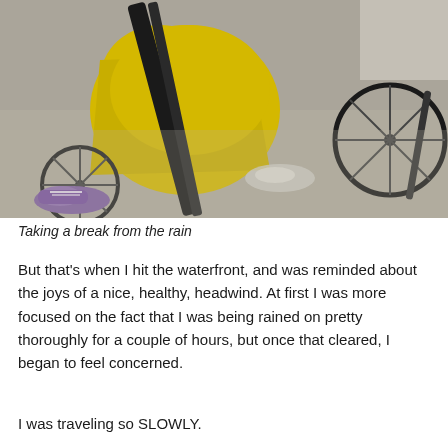[Figure (photo): A person wearing a yellow rain poncho crouching next to a bicycle on a wet concrete surface, viewed from behind/side. Purple sneaker visible at lower left. Another bicycle partially visible at right. Wet pavement with a white splatter mark.]
Taking a break from the rain
But that’s when I hit the waterfront, and was reminded about the joys of a nice, healthy, headwind. At first I was more focused on the fact that I was being rained on pretty thoroughly for a couple of hours, but once that cleared, I began to feel concerned.
I was traveling so SLOWLY.